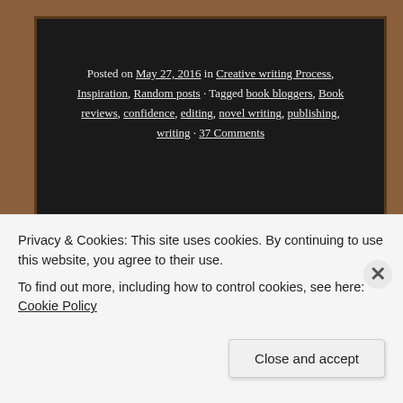Posted on May 27, 2016 in Creative writing Process, Inspiration, Random posts · Tagged book bloggers, Book reviews, confidence, editing, novel writing, publishing, writing · 37 Comments
[Figure (illustration): A hand-drawn white chalk horizontal line on a dark chalkboard background]
Flash Fiction - Do you see
Privacy & Cookies: This site uses cookies. By continuing to use this website, you agree to their use.
To find out more, including how to control cookies, see here: Cookie Policy
Close and accept